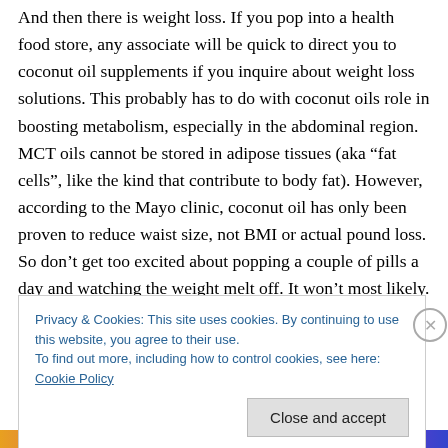And then there is weight loss. If you pop into a health food store, any associate will be quick to direct you to coconut oil supplements if you inquire about weight loss solutions. This probably has to do with coconut oils role in boosting metabolism, especially in the abdominal region. MCT oils cannot be stored in adipose tissues (aka “fat cells”, like the kind that contribute to body fat). However, according to the Mayo clinic, coconut oil has only been proven to reduce waist size, not BMI or actual pound loss. So don’t get too excited about popping a couple of pills a day and watching the weight melt off. It won’t most likely. And don’t forget, fat
Privacy & Cookies: This site uses cookies. By continuing to use this website, you agree to their use.
To find out more, including how to control cookies, see here: Cookie Policy